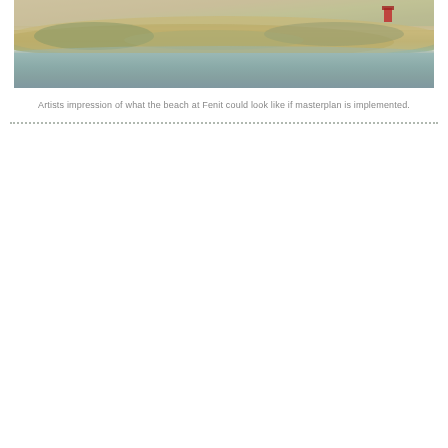[Figure (photo): Artists impression photograph of a beach at Fenit showing sandy shore with water, vegetation, and a small red structure in the background.]
Artists impression of what the beach at Fenit could look like if masterplan is implemented.